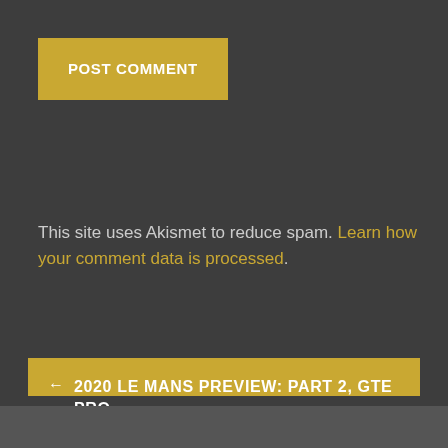POST COMMENT
This site uses Akismet to reduce spam. Learn how your comment data is processed.
← 2020 LE MANS PREVIEW: PART 2, GTE PRO
PREVIEW: 2020 RUSSIAN GRAND PRIX – FORMULA 2 SPRINT RACE →